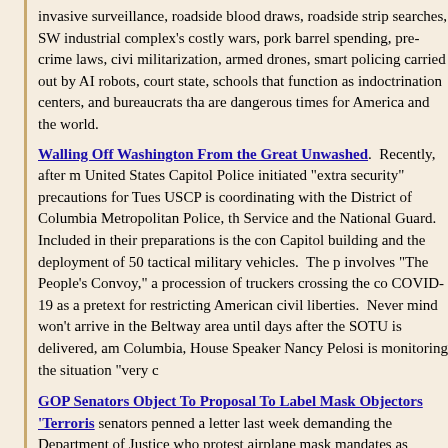invasive surveillance, roadside blood draws, roadside strip searches, SW industrial complex's costly wars, pork barrel spending, pre-crime laws, ci militarization, armed drones, smart policing carried out by AI robots, cour state, schools that function as indoctrination centers, and bureaucrats tha are dangerous times for America and the world.
Walling Off Washington From the Great Unwashed.  Recently, after m United States Capitol Police initiated "extra security" precautions for Tues USCP is coordinating with the District of Columbia Metropolitan Police, th Service and the National Guard.  Included in their preparations is the con Capitol building and the deployment of 50 tactical military vehicles.  The p involves "The People's Convoy," a procession of truckers crossing the co COVID-19 as a pretext for restricting American civil liberties.  Never mind won't arrive in the Beltway area until days after the SOTU is delivered, am Columbia, House Speaker Nancy Pelosi is monitoring the situation "very c
GOP Senators Object To Proposal To Label Mask Objectors 'Terroris senators penned a letter last week demanding the Department of Justice who protest airplane mask mandates as "terrorists."  Earlier this month, D DOJ to add travelers convicted of "unruly" conduct to a new "no-fly" list ba transport.  Such conduct warranting the same expulsion granted to suspe resisted compliance with mask requirements, which made up nearly three according to data from the Federal Aviation Administration published by C maintains its own no-fly list for anyone who disrupts onboard safety or ref Bastian wrote in a Washington Post op-ed Tuesday doubling down on his
Saying You're 'Colorblind' About Race Is Now Considered Racist By based training program used by federal agencies claims, among other thi race is itself racist.  The training is part of a newly revealed federal divers previously critical race theory trainings within the federal government, the the suspicion comes in the form of opposing "microaggressions" or use